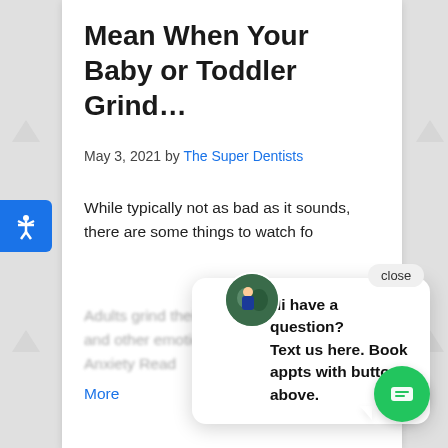Mean When Your Baby or Toddler Grind…
May 3, 2021 by The Super Dentists
While typically not as bad as it sounds, there are some things to watch for. Adults grind their teeth because of stress and other emotional states. Anger, Check Anxiety Read More
Hi have a question? Text us here. Book appts with button above.